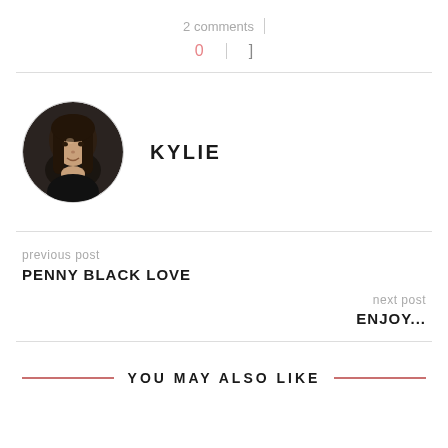2 comments
0  |  []
[Figure (photo): Circular avatar photo of Kylie, a woman with long dark hair, smiling]
KYLIE
previous post
PENNY BLACK LOVE
next post
ENJOY...
YOU MAY ALSO LIKE